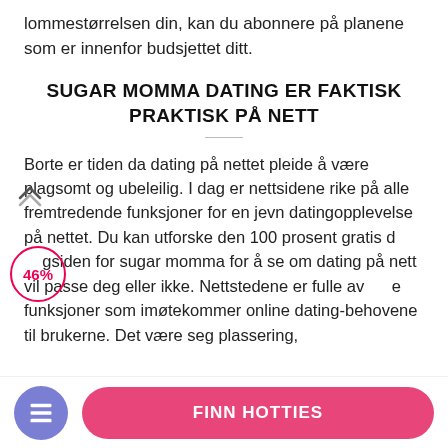lommestørrelsen din, kan du abonnere på planene som er innenfor budsjettet ditt.
SUGAR MOMMA DATING ER FAKTISK PRAKTISK PÅ NETT
Borte er tiden da dating på nettet pleide å være plagsomt og ubeleilig. I dag er nettsidene rike på alle fremtredende funksjoner for en jevn datingopplevelse på nettet. Du kan utforske den 100 prosent gratis d gsiden for sugar momma for å se om dating på nett vil passe deg eller ikke. Nettstedene er fulle av e funksjoner som imøtekommer online dating-behovene til brukerne. Det være seg plassering,
FINN HOTTIES